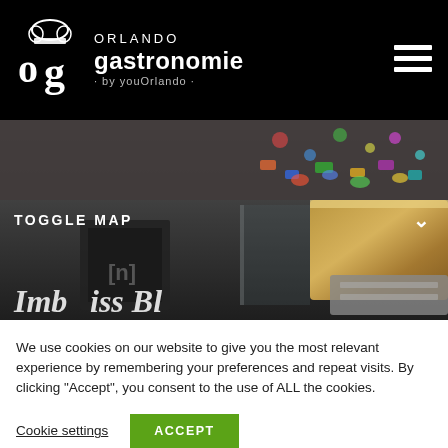ORLANDO gastronomie · by youOrlando ·
[Figure (screenshot): Hero image of a restaurant kitchen/counter area, dark toned, with decorative sticker-covered wall in background and stainless steel equipment visible. Overlaid with 'TOGGLE MAP' text and a chevron arrow on the right.]
We use cookies on our website to give you the most relevant experience by remembering your preferences and repeat visits. By clicking “Accept”, you consent to the use of ALL the cookies.
Cookie settings
ACCEPT